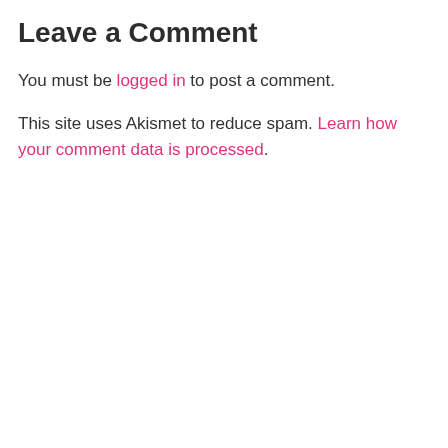Leave a Comment
You must be logged in to post a comment.
This site uses Akismet to reduce spam. Learn how your comment data is processed.